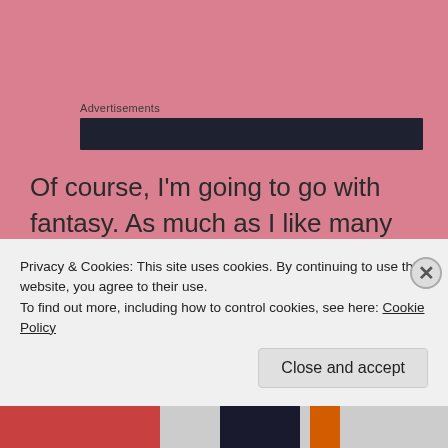Advertisements
[Figure (other): Dark advertisement banner bar]
Of course, I'm going to go with fantasy. As much as I like many other genres, fantasy is always my favorite. I have to say The Hobbit by J.R.R Tolkien perfectly represents this genre. Tolkien's world is fully realized, it has the hero's quest, a great group of
Privacy & Cookies: This site uses cookies. By continuing to use this website, you agree to their use.
To find out more, including how to control cookies, see here: Cookie Policy
Close and accept